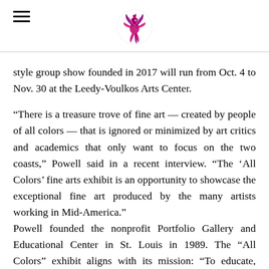[hamburger menu icon] [phoenix logo]
style group show founded in 2017 will run from Oct. 4 to Nov. 30 at the Leedy-Voulkos Arts Center.
“There is a treasure trove of fine art — created by people of all colors — that is ignored or minimized by art critics and academics that only want to focus on the two coasts,” Powell said in a recent interview. “The ‘All Colors’ fine arts exhibit is an opportunity to showcase the exceptional fine art produced by the many artists working in Mid-America.” Powell founded the nonprofit Portfolio Gallery and Educational Center in St. Louis in 1989. The “All Colors” exhibit aligns with its mission: “To educate, enrich lives and foster a greater awareness of American artists of African American heritage.”
Forty-nine artists were selected for the show, not all